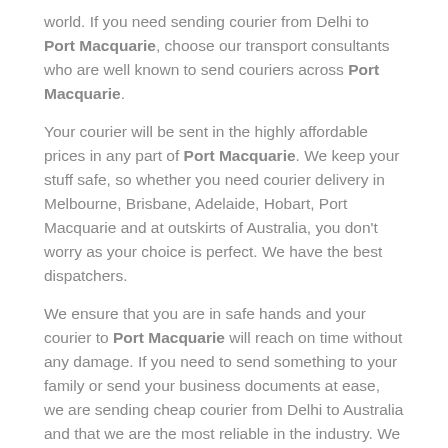world. If you need sending courier from Delhi to Port Macquarie, choose our transport consultants who are well known to send couriers across Port Macquarie.
Your courier will be sent in the highly affordable prices in any part of Port Macquarie. We keep your stuff safe, so whether you need courier delivery in Melbourne, Brisbane, Adelaide, Hobart, Port Macquarie and at outskirts of Australia, you don't worry as your choice is perfect. We have the best dispatchers.
We ensure that you are in safe hands and your courier to Port Macquarie will reach on time without any damage. If you need to send something to your family or send your business documents at ease, we are sending cheap courier from Delhi to Australia and that we are the most reliable in the industry. We will offer the essential information regarding your courier service. We have a great team that will assist you throughout your shipment also we have a facility to offer our customer with tracking number so that they can track their order with the peace of mind.
Courier to Delhi from Port Macquarie
Save on the standard prices for door to door delivery. If you have a courier pickup to be done for residence or business, we provide